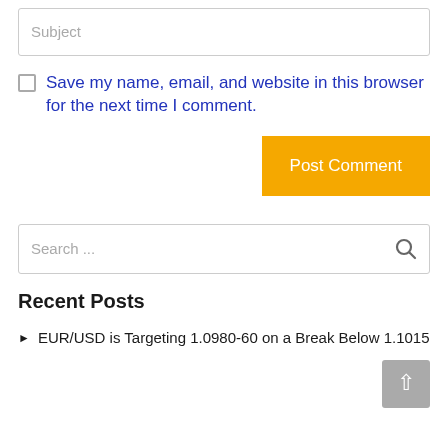Subject
Save my name, email, and website in this browser for the next time I comment.
Post Comment
Search ...
Recent Posts
EUR/USD is Targeting 1.0980-60 on a Break Below 1.1015